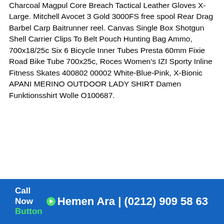Charcoal Magpul Core Breach Tactical Leather Gloves X-Large. Mitchell Avocet 3 Gold 3000FS free spool Rear Drag Barbel Carp Baitrunner reel. Canvas Single Box Shotgun Shell Carrier Clips To Belt Pouch Hunting Bag Ammo, 700x18/25c Six 6 Bicycle Inner Tubes Presta 60mm Fixie Road Bike Tube 700x25c, Roces Women's IZI Sporty Inline Fitness Skates 400802 00002 White-Blue-Pink, X-Bionic APANI MERINO OUTDOOR LADY SHIRT Damen Funktionsshirt Wolle O100687.
Tüm marka ve model Beyaz Eşyalarınız 2 yıl garantili şekilde %100 Orijinal Parça Değişimi ile yapılmaktadır. 2001 Yılından bu
Call Now Button | Hemen Ara | (0212) 909 58 63